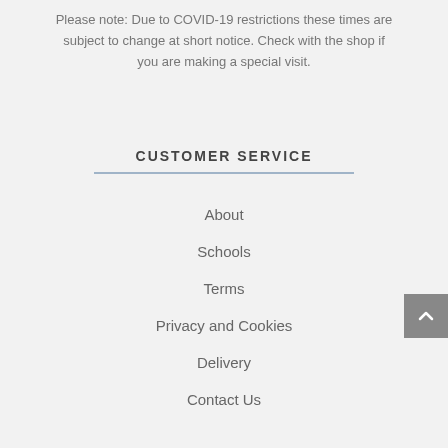Please note: Due to COVID-19 restrictions these times are subject to change at short notice. Check with the shop if you are making a special visit.
CUSTOMER SERVICE
About
Schools
Terms
Privacy and Cookies
Delivery
Contact Us